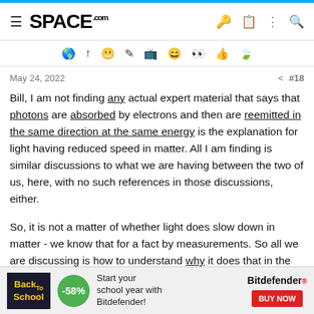SPACE.com
[Figure (screenshot): Toolbar row with emoji/icon buttons for reactions and sharing]
May 24, 2022   < #18
Bill, I am not finding any actual expert material that says that photons are absorbed by electrons and then are reemitted in the same direction at the same energy is the explanation for light having reduced speed in matter. All I am finding is similar discussions to what we are having between the two of us, here, with no such references in those discussions, either.
So, it is not a matter of whether light does slow down in matter - we know that for a fact by measurements. So all we are discussing is how to understand why it does that in the conceptual framework of light being photons.
And my objection to the idea you posted is in the word "absorbed"
[Figure (screenshot): Advertisement banner: Back to School -58% Bitdefender promotion with BUY NOW button]